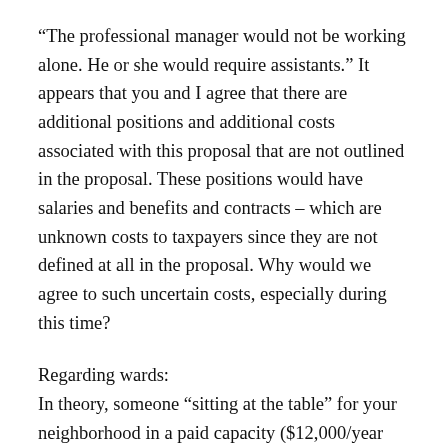“The professional manager would not be working alone. He or she would require assistants.” It appears that you and I agree that there are additional positions and additional costs associated with this proposal that are not outlined in the proposal. These positions would have salaries and benefits and contracts – which are unknown costs to taxpayers since they are not defined at all in the proposal. Why would we agree to such uncertain costs, especially during this time?
Regarding wards:
In theory, someone “sitting at the table” for your neighborhood in a paid capacity ($12,000/year under this proposal) should deliver results. In practice, that is not always the case – especially when they have